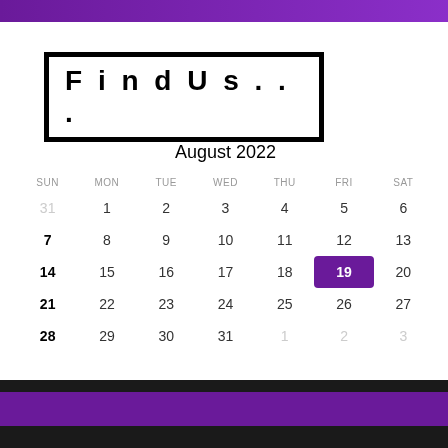[Figure (illustration): Purple gradient banner at top of page]
Find Us...
[Figure (other): August 2022 calendar with day 19 highlighted in purple. Days: Sun 31(prev), Mon 1, Tue 2, Wed 3, Thu 4, Fri 5, Sat 6 / Sun 7, Mon 8, Tue 9, Wed 10, Thu 11, Fri 12, Sat 13 / Sun 14, Mon 15, Tue 16, Wed 17, Thu 18, Fri 19(highlighted), Sat 20 / Sun 21, Mon 22, Tue 23, Wed 24, Thu 25, Fri 26, Sat 27 / Sun 28, Mon 29, Tue 30, Wed 31, Thu 1(next), Fri 2(next), Sat 3(next)]